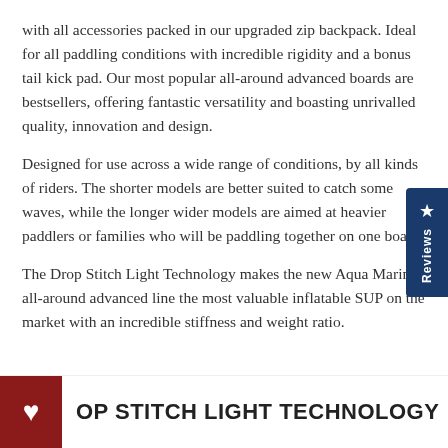with all accessories packed in our upgraded zip backpack. Ideal for all paddling conditions with incredible rigidity and a bonus tail kick pad. Our most popular all-around advanced boards are bestsellers, offering fantastic versatility and boasting unrivalled quality, innovation and design.
Designed for use across a wide range of conditions, by all kinds of riders. The shorter models are better suited to catch some waves, while the longer wider models are aimed at heavier paddlers or families who will be paddling together on one board.
The Drop Stitch Light Technology makes the new Aqua Marina all-around advanced line the most valuable inflatable SUP on the market with an incredible stiffness and weight ratio.
OP STITCH LIGHT TECHNOLOGY